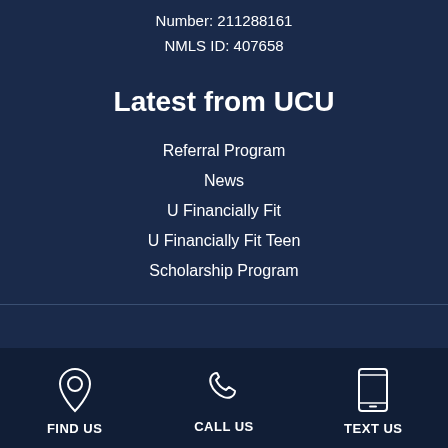Number: 211288161
NMLS ID: 407658
Latest from UCU
Referral Program
News
U Financially Fit
U Financially Fit Teen
Scholarship Program
FIND US  CALL US  TEXT US